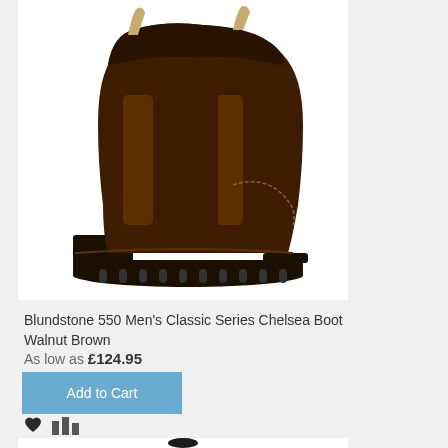[Figure (photo): Brown leather Chelsea boot (Blundstone 550) on white background, side profile view showing elastic side panel and pull tab]
Blundstone 550 Men's Classic Series Chelsea Boot Walnut Brown
As low as £124.95
Add to Cart
[Figure (other): Wishlist heart icon and comparison bar chart icon]
[Figure (photo): Second product partially visible - black object at bottom of card]